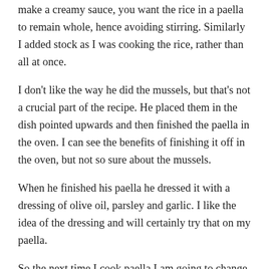make a creamy sauce, you want the rice in a paella to remain whole, hence avoiding stirring. Similarly I added stock as I was cooking the rice, rather than all at once.
I don't like the way he did the mussels, but that's not a crucial part of the recipe. He placed them in the dish pointed upwards and then finished the paella in the oven. I can see the benefits of finishing it off in the oven, but not so sure about the mussels.
When he finished his paella he dressed it with a dressing of olive oil, parsley and garlic. I like the idea of the dressing and will certainly try that on my paella.
So the next time I cook paella I am going to change from my usual method and try something different.
Share this: